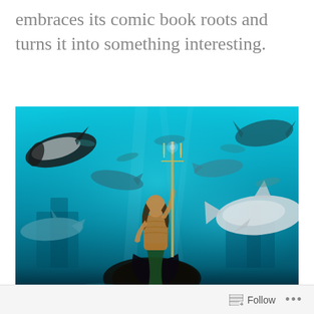embraces its comic book roots and turns it into something interesting.
[Figure (photo): Movie still of Aquaman (Jason Momoa) standing on a rock holding a trident, surrounded by sharks in an underwater scene with blue-teal lighting.]
When it comes to heroes, it is easy to make Aquaman a punchline. The trident-wielding King of Atlantis can talk to fish and is often
Follow ...